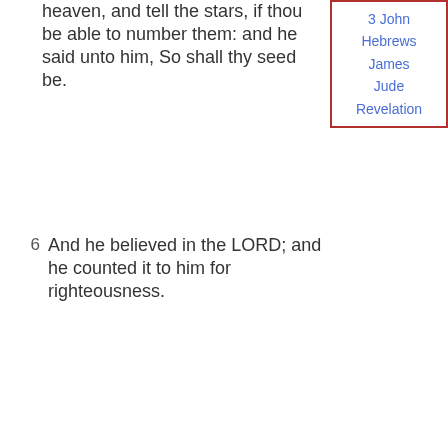heaven, and tell the stars, if thou be able to number them: and he said unto him, So shall thy seed be.
6 And he believed in the LORD; and he counted it to him for righteousness.
7 And he said unto him, I [am] the LORD that brought thee out of Ur of the Chaldees, to give thee this land to inherit it.
8 And he said, Lord GOD, whereby shall I know that I shall inherit it?
9 And he said unto him, Take me an heifer of three
[Figure (other): Sidebar navigation list with book names: 3 John, Hebrews, James, Jude, Revelation]